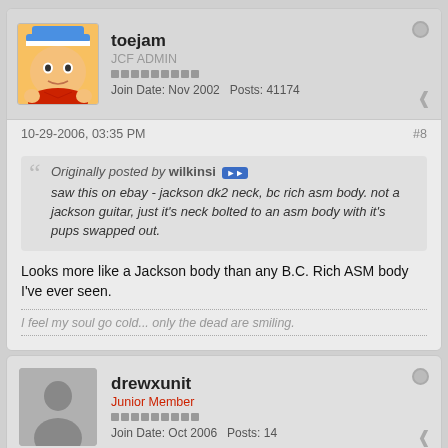toejam
JCF ADMIN
Join Date: Nov 2002   Posts: 41174
10-29-2006, 03:35 PM
#8
Originally posted by wilkinsi
saw this on ebay - jackson dk2 neck, bc rich asm body. not a jackson guitar, just it's neck bolted to an asm body with it's pups swapped out.
Looks more like a Jackson body than any B.C. Rich ASM body I've ever seen.
I feel my soul go cold... only the dead are smiling.
drewxunit
Junior Member
Join Date: Oct 2006   Posts: 14